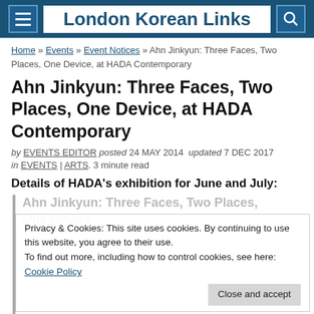London Korean Links
Home » Events » Event Notices » Ahn Jinkyun: Three Faces, Two Places, One Device, at HADA Contemporary
Ahn Jinkyun: Three Faces, Two Places, One Device, at HADA Contemporary
by EVENTS EDITOR posted 24 MAY 2014 updated 7 DEC 2017
in EVENTS | ARTS. 3 minute read
Details of HADA's exhibition for June and July:
Privacy & Cookies: This site uses cookies. By continuing to use this website, you agree to their use. To find out more, including how to control cookies, see here: Cookie Policy
Ahn Jinkyun: Three Faces, Two Places, One Device
5 June – 31 July 2014
HADA Contemporary | 21 Vyner Street | London | E2 9DG | www.hadacontemporary.com
Wednesday – Friday: 11am – 6pm | Saturday –